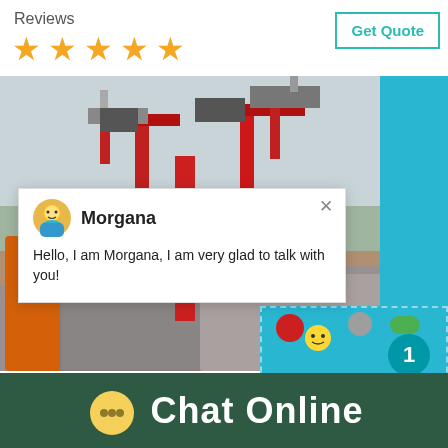Reviews
[Figure (illustration): Five orange star rating symbols]
[Figure (other): Get Quote button with teal border]
[Figure (photo): Industrial facility with red cranes, silos and colorful storage tanks]
[Figure (screenshot): Chat popup with avatar of Morgana agent saying: Hello, I am Morgana, I am very glad to talk with you!]
[Figure (infographic): Chat widget with cyan background showing emotion icons, number 1 badge, Click me to chat button, and Enquiry label]
Chat Online